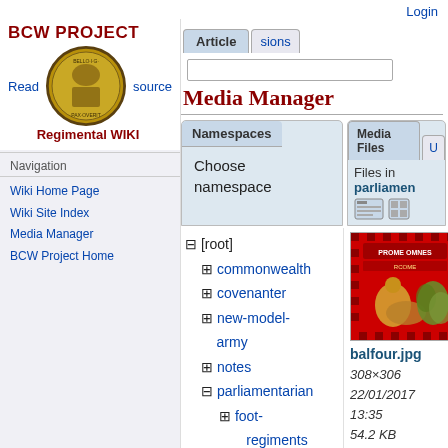Login
BCW PROJECT
[Figure (photo): BCW Project coin/seal logo, circular medallion with coat of arms]
Regimental WIKI
Navigation
Wiki Home Page
Wiki Site Index
Media Manager
BCW Project Home
Media Manager
Namespaces
Media Files
Choose namespace
Files in parliamentarian
⊟ [root]
⊞ commonwealth
⊞ covenanter
⊞ new-model-army
⊞ notes
⊟ parliamentarian
⊞ foot-regiments
[Figure (photo): Thumbnail of balfour.jpg, a historical military flag/standard image on red background]
balfour.jpg
308×306
22/01/2017
13:35
54.2 KB